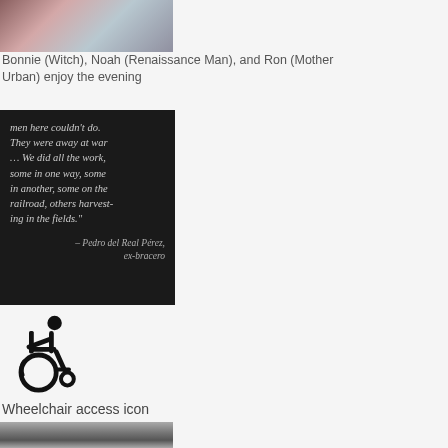[Figure (photo): Partial top photo showing people in costumes at an evening event]
Bonnie (Witch), Noah (Renaissance Man), and Ron (Mother Urban) enjoy the evening
[Figure (photo): Dark background image with quote text from Pedro del Real Pérez, ex-bracero: 'men here couldn't do. They were away at war ... We did all the work, some in one way, some in another, some on the railroad, others harvesting in the fields.']
[Figure (illustration): Wheelchair access icon - standard International Symbol of Access showing a person in a wheelchair]
Wheelchair access icon
[Figure (photo): Black and white photo partially visible showing a person]